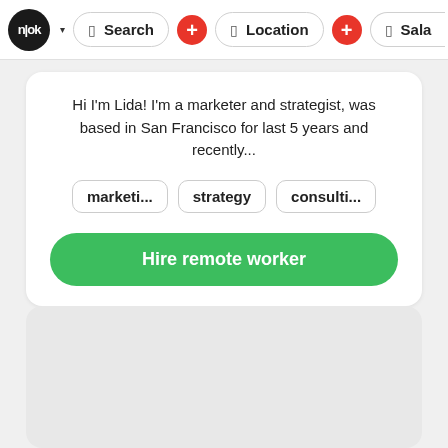n|OK ▾   Search +   Location +   Sala
Hi I'm Lida! I'm a marketer and strategist, was based in San Francisco for last 5 years and recently...
marketi...
strategy
consulti...
Hire remote worker